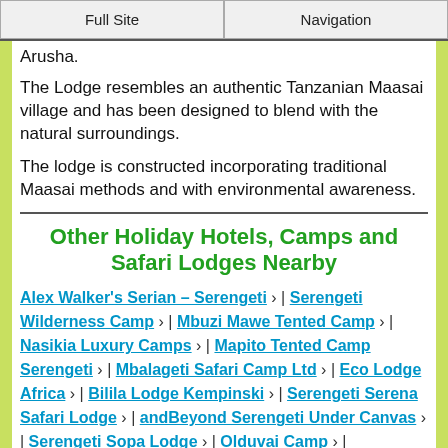Full Site | Navigation
Arusha.
The Lodge resembles an authentic Tanzanian Maasai village and has been designed to blend with the natural surroundings.
The lodge is constructed incorporating traditional Maasai methods and with environmental awareness.
Other Holiday Hotels, Camps and Safari Lodges Nearby
Alex Walker's Serian – Serengeti › | Serengeti Wilderness Camp › | Mbuzi Mawe Tented Camp › | Nasikia Luxury Camps › | Mapito Tented Camp Serengeti › | Mbalageti Safari Camp Ltd › | Eco Lodge Africa › | Bilila Lodge Kempinski › | Serengeti Serena Safari Lodge › | andBeyond Serengeti Under Canvas › | Serengeti Sopa Lodge › | Olduvai Camp › | andBeyond Grumeti Serengeti Tented Camp